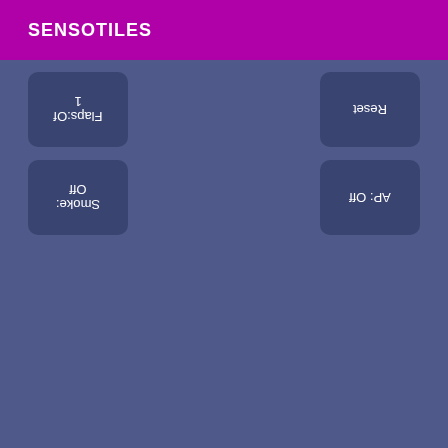SENSOTILES
[Figure (screenshot): A dark blue-purple UI interface panel showing four buttons arranged in the corners: 'Flaps: Off 1' (top-left, rotated 180°), 'Reset' (top-right, rotated 180°), 'Smoke: Off' (middle-left, rotated 180°), 'AP: Off' (middle-right, rotated 180°). The background is a blue-grey color (#4f5a8a).]